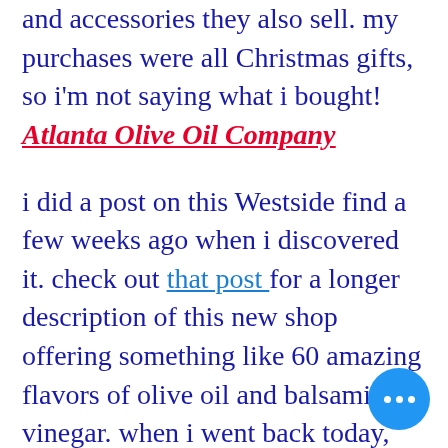and accessories they also sell. my purchases were all Christmas gifts, so i'm not saying what i bought! Atlanta Olive Oil Company
i did a post on this Westside find a few weeks ago when i discovered it. check out that post for a longer description of this new shop offering something like 60 amazing flavors of olive oil and balsamic vinegar. when i went back today, they were out of 2 of the things i wanted, but the owner promised to call me when more came in. i hadn't even gotten home when i received a text from her letting me know she'd found one hidden bottle. you would so never get service like that from a big chain